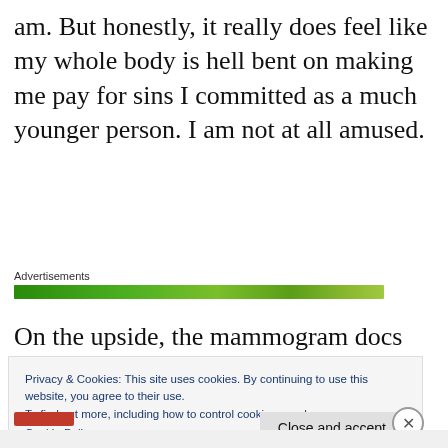am. But honestly, it really does feel like my whole body is hell bent on making me pay for sins I committed as a much younger person. I am not at all amused.
Advertisements
[Figure (other): Green advertisement banner bar]
On the upside, the mammogram docs are trying to coordinate things with the oncology
Privacy & Cookies: This site uses cookies. By continuing to use this website, you agree to their use.
To find out more, including how to control cookies, see here:
Cookie Policy
Close and accept